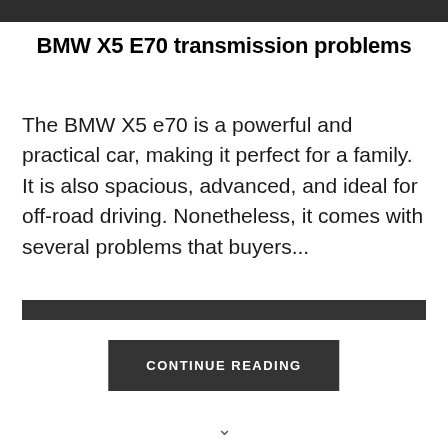[Figure (photo): Top partial image showing a dark background with partial wheel/rim detail of a BMW vehicle]
BMW X5 E70 transmission problems
The BMW X5 e70 is a powerful and practical car, making it perfect for a family. It is also spacious, advanced, and ideal for off-road driving. Nonetheless, it comes with several problems that buyers...
CONTINUE READING
[Figure (other): Dark horizontal bar separator]
v